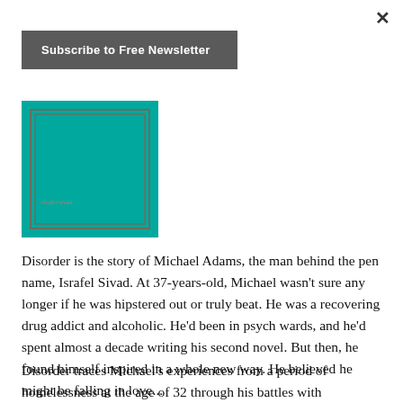×
Subscribe to Free Newsletter
[Figure (illustration): Teal/turquoise book cover with a decorative rectangular border and small text 'israfel sivad' at the bottom left interior]
Disorder is the story of Michael Adams, the man behind the pen name, Israfel Sivad. At 37-years-old, Michael wasn't sure any longer if he was hipstered out or truly beat. He was a recovering drug addict and alcoholic. He'd been in psych wards, and he'd spent almost a decade writing his second novel. But then, he found himself inspired in a whole new way. He believed he might be falling in love...
Disorder traces Michael's experiences from a period of homelessness at the age of 32 through his battles with alcoholism and psychosis back to his birth in Southern